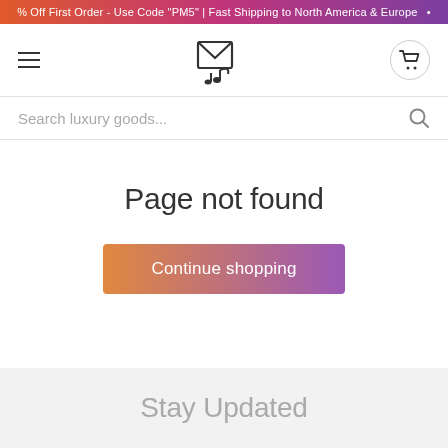% Off First Order - Use Code "PM5" | Fast Shipping to North America & Europe
[Figure (logo): Music/gift box logo icon with musical note, hamburger menu icon on left, cart icon on right]
Search luxury goods...
Page not found
Continue shopping
Stay Updated